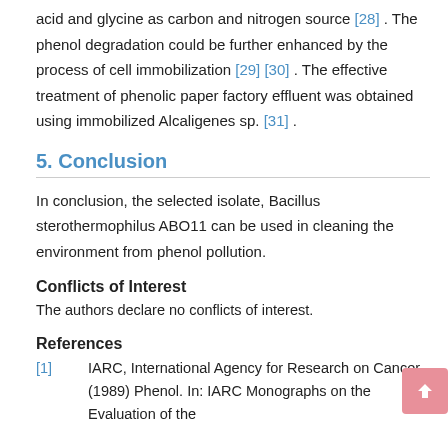acid and glycine as carbon and nitrogen source [28] . The phenol degradation could be further enhanced by the process of cell immobilization [29] [30] . The effective treatment of phenolic paper factory effluent was obtained using immobilized Alcaligenes sp. [31] .
5. Conclusion
In conclusion, the selected isolate, Bacillus sterothermophilus ABO11 can be used in cleaning the environment from phenol pollution.
Conflicts of Interest
The authors declare no conflicts of interest.
References
[1]    IARC, International Agency for Research on Cancer (1989) Phenol. In: IARC Monographs on the Evaluation of the